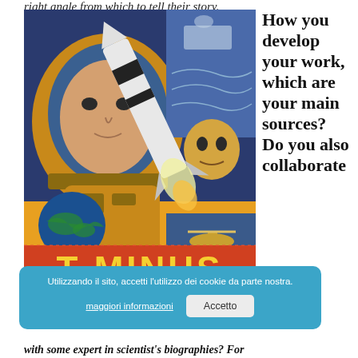right angle from which to tell their story.
[Figure (illustration): Comic-style book cover illustration showing an astronaut in a spacesuit on the left, a rocket launching in the center, Earth visible in the lower left, and technical diagrams in the background. Bold orange/blue color scheme. Title text 'T-MINUS' in large yellow letters at the bottom on orange background.]
How you develop your work, which are your main sources? Do you also collaborate with some expert in scientist's biographies? For
[Figure (screenshot): Cookie consent banner overlay in Italian. Blue rounded rectangle with text 'Utilizzando il sito, accetti l'utilizzo dei cookie da parte nostra.' and buttons 'maggiori informazioni' (underlined link) and 'Accetto' (accept button).]
with some expert in scientist's biographies? For